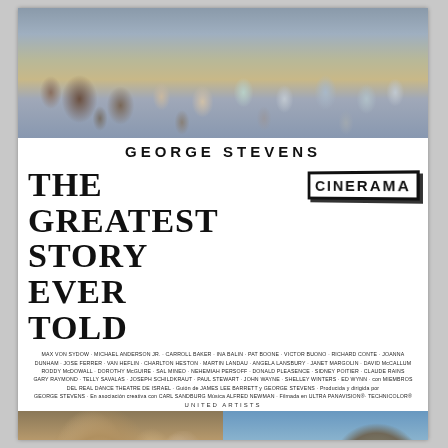[Figure (photo): Top panoramic photo showing a large crowd of people in biblical robes and costumes, many in white and grey garments, walking together in a scene from the film.]
GEORGE STEVENS
THE GREATEST STORY EVER TOLD
[Figure (logo): CINERAMA logo in bold block letters with a 3D box border effect]
MAX VON SYDOW · MICHAEL ANDERSON JR. · CARROLL BAKER · INA BALIN · PAT BOONE · VICTOR BUONO · RICHARD CONTE · JOANNA DUNHAM · JOSE FERRER · VAN HEFLIN · CHARLTON HESTON · MARTIN LANDAU · ANGELA LANSBURY · JANET MARGOLIN · DAVID McCALLUM · RODDY McDOWALL · DOROTHY McGUIRE · SAL MINEO · NEHEMIAH PERSOFF · DONALD PLEASENCE · SIDNEY POITIER · CLAUDE RAINS · GARY RAYMOND · TELLY SAVALAS · JOSEPH SCHILDKRAUT · PAUL STEWART · JOHN WAYNE · SHELLEY WINTERS · ED WYNN · con MIEMBROS DEL REAL DANCE THEATRE OF ISRAEL · Guión de JAMES LEE BARRETT y GEORGE STEVENS · Producida y dirigida por GEORGE STEVENS · En asociación creativa con CARL SANDBURG Música ALFRED NEWMAN · Filmada en ULTRA PANAVISION® · TECHNICOLOR®
UNITED ARTISTS
[Figure (photo): Bottom left photo showing a close-up of a man in biblical robes (portraying Jesus) with hands raised in prayer, seen from below.]
[Figure (photo): Bottom right photo showing a scenic landscape with a body of water, rocky hills, and a group of figures near a boat, illustrating a biblical scene.]